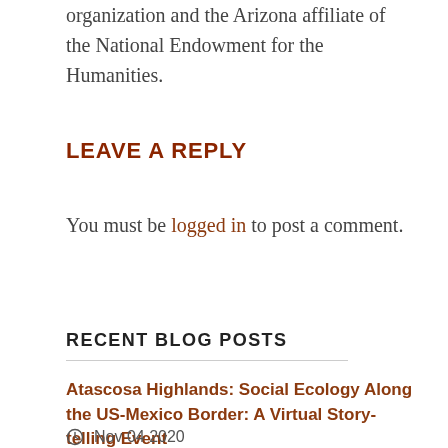organization and the Arizona affiliate of the National Endowment for the Humanities.
LEAVE A REPLY
You must be logged in to post a comment.
RECENT BLOG POSTS
Atascosa Highlands: Social Ecology Along the US-Mexico Border: A Virtual Story-telling Event
Nov 04 2020